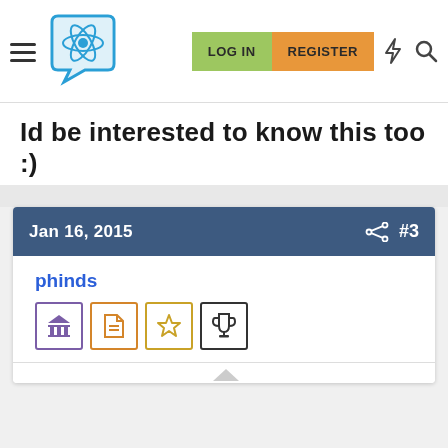Navigation bar with hamburger menu, logo, LOG IN button, REGISTER button, lightning icon, search icon
Id be interested to know this too :)
Jan 16, 2015  #3
phinds
[Figure (screenshot): Four user badge icons: purple institution icon, orange document icon, gold star icon, dark trophy icon]